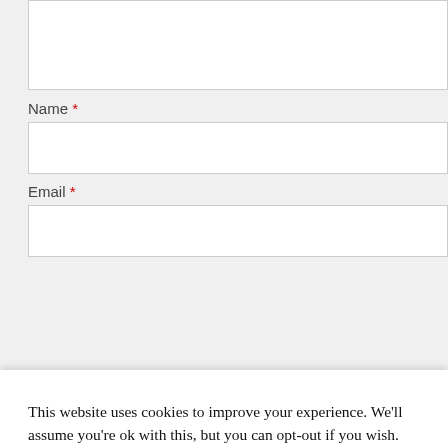Name *
Email *
This website uses cookies to improve your experience. We'll assume you're ok with this, but you can opt-out if you wish.
Cookie settings
ACCEPT